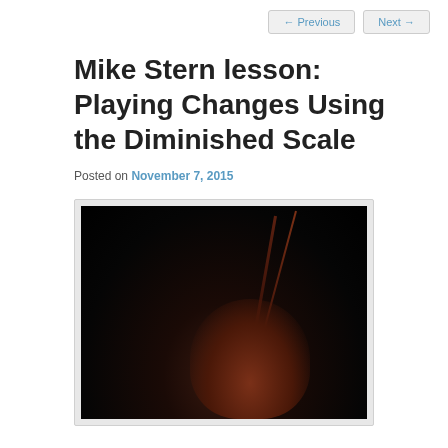← Previous    Next →
Mike Stern lesson: Playing Changes Using the Diminished Scale
Posted on November 7, 2015
[Figure (photo): Dark photograph, likely of Mike Stern playing guitar, showing a dimly lit scene with reddish-brown tones suggesting a guitar body and neck visible against a very dark background.]